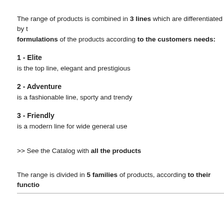The range of products is combined in 3 lines which are differentiated by the formulations of the products according to the customers needs:
1 - Elite
is the top line, elegant and prestigious
2 - Adventure
is a fashionable line, sporty and trendy
3 - Friendly
is a modern line for wide general use
>> See the Catalog with all the products
The range is divided in 5 families of products, according to their functio...